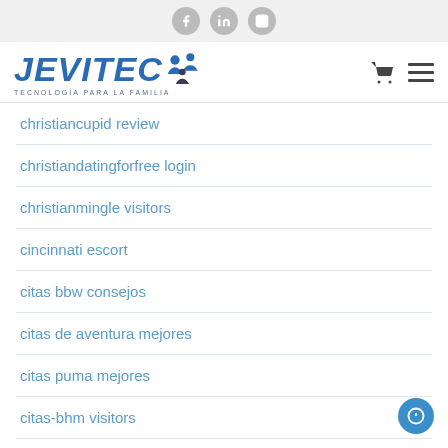[Figure (logo): JEVITEC logo with social media icons (Facebook, LinkedIn, Instagram) in the top bar]
christiancupid review
christiandatingforfree login
christianmingle visitors
cincinnati escort
citas bbw consejos
citas de aventura mejores
citas puma mejores
citas-bhm visitors
citas-de-aventura reviews